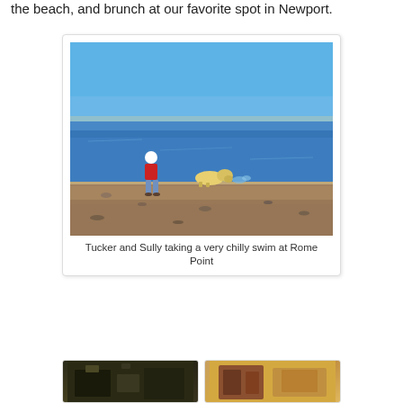the beach, and brunch at our favorite spot in Newport.
[Figure (photo): Person in red vest and white hat walking on a rocky beach shore while a yellow dog wades in the water. Clear blue sky and calm water in the background.]
Tucker and Sully taking a very chilly swim at Rome Point
[Figure (photo): Two partial thumbnail photos at the bottom of the page - left appears dark/green toned, right appears warm/orange toned.]